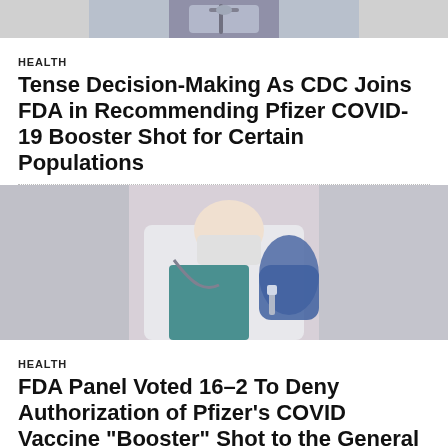[Figure (photo): Close-up of a syringe/vaccine, partially visible at the top of the page]
HEALTH
Tense Decision-Making As CDC Joins FDA in Recommending Pfizer COVID-19 Booster Shot for Certain Populations
[Figure (photo): Doctor or medical professional in white coat and blue gloves handling a syringe/vaccine]
HEALTH
FDA Panel Voted 16–2 To Deny Authorization of Pfizer's COVID Vaccine “Booster” Shot to the General Public
[Figure (photo): Partial image of another medical/vaccine related photo at the bottom of the page]